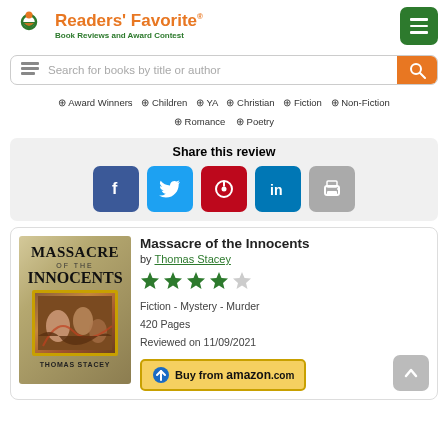Readers' Favorite® Book Reviews and Award Contest
Search for books by title or author
⊕ Award Winners  ⊕ Children  ⊕ YA  ⊕ Christian  ⊕ Fiction  ⊕ Non-Fiction  ⊕ Romance  ⊕ Poetry
Share this review
[Figure (screenshot): Social share buttons: Facebook, Twitter, Pinterest, LinkedIn, Print]
Massacre of the Innocents
by Thomas Stacey
★★★★☆  (4 out of 5 stars)
Fiction - Mystery - Murder
420 Pages
Reviewed on 11/09/2021
[Figure (illustration): Book cover: Massacre of the Innocents by Thomas Stacey]
Buy from amazon.com